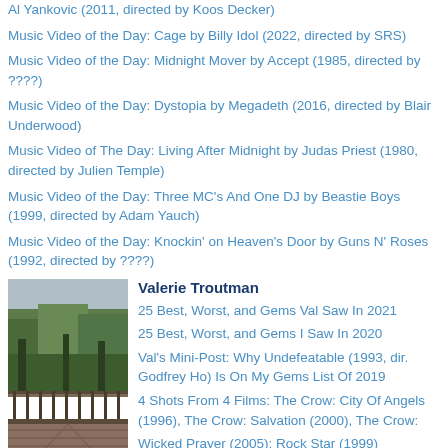Al Yankovic (2011, directed by Koos Decker)
Music Video of the Day: Cage by Billy Idol (2022, directed by SRS)
Music Video of the Day: Midnight Mover by Accept (1985, directed by ????)
Music Video of the Day: Dystopia by Megadeth (2016, directed by Blair Underwood)
Music Video of The Day: Living After Midnight by Judas Priest (1980, directed by Julien Temple)
Music Video of the Day: Three MC's And One DJ by Beastie Boys (1999, directed by Adam Yauch)
Music Video of the Day: Knockin' on Heaven's Door by Guns N' Roses (1992, directed by ????)
[Figure (photo): Outdoor photo showing a wooden deck/walkway with trees and greenery in the background, overcast sky]
Valerie Troutman
25 Best, Worst, and Gems Val Saw In 2021
25 Best, Worst, and Gems I Saw In 2020
Val's Mini-Post: Why Undefeatable (1993, dir. Godfrey Ho) Is On My Gems List Of 2019
4 Shots From 4 Films: The Crow: City Of Angels (1996), The Crow: Salvation (2000), The Crow: Wicked Prayer (2005), Rock Star (1999)